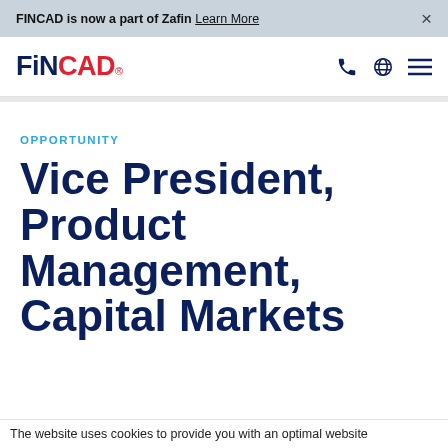FINCAD is now a part of Zafin Learn More ×
[Figure (logo): FINCAD logo with phone, globe and menu icons]
OPPORTUNITY
Vice President, Product Management, Capital Markets
The website uses cookies to provide you with an optimal website